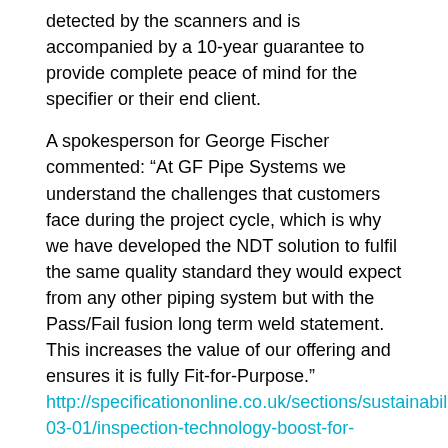detected by the scanners and is accompanied by a 10-year guarantee to provide complete peace of mind for the specifier or their end client.
A spokesperson for George Fischer commented: “At GF Pipe Systems we understand the challenges that customers face during the project cycle, which is why we have developed the NDT solution to fulfil the same quality standard they would expect from any other piping system but with the Pass/Fail fusion long term weld statement. This increases the value of our offering and ensures it is fully Fit-for-Purpose.”
http://specificationonline.co.uk/sections/sustainability/articles/2017-03-01/inspection-technology-boost-for-george-fischer-joint-performance
Armtec Adding Production of Large-Diameter HDPE Pipe (Breaking News)
http://www.plasticsnews.com/article/20170303/NEWS/170309957/armtec-adding-production-of-large-diameter-hdpe-pipe